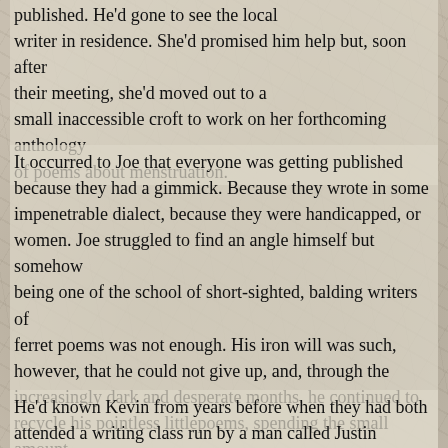published. He'd gone to see the local writer in residence. She'd promised him help but, soon after their meeting, she'd moved out to a small inaccessible croft to work on her forthcoming anthology of poems about menstruation.
It occurred to Joe that everyone was getting published because they had a gimmick. Because they wrote in some impenetrable dialect, because they were handicapped, or women. Joe struggled to find an angle himself but somehow being one of the school of short-sighted, balding writers of ferret poems was not enough. His iron will was such, however, that he could not give up, and, through the increasingly dark and desperate months, he continued to recycle his pointless littlepoems, spending the small amount of money he'd inherited from his parents on huge amounts of brown envelopes and broad green acres of second class stamps. Then, one day, he met, or rather re-met, Kevin McCutcheon, a psychopath.
He'd known Kevin from years before when they had both attended a writing class run by a man called Justin Everard